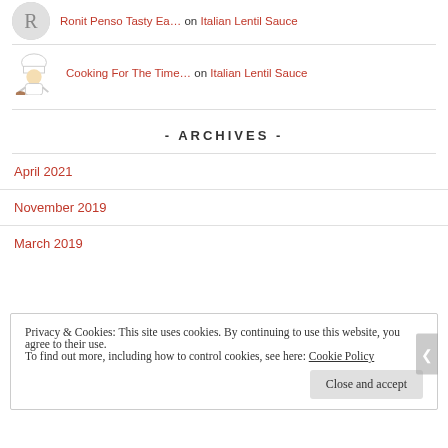Ronit Penso Tasty Ea… on Italian Lentil Sauce
Cooking For The Time… on Italian Lentil Sauce
- ARCHIVES -
April 2021
November 2019
March 2019
Privacy & Cookies: This site uses cookies. By continuing to use this website, you agree to their use.
To find out more, including how to control cookies, see here: Cookie Policy
Close and accept